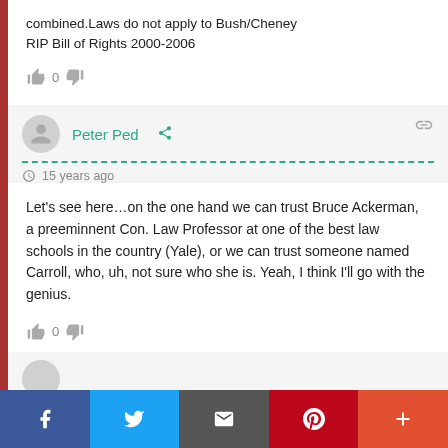combined.Laws do not apply to Bush/Cheney
RIP Bill of Rights 2000-2006
👍 0 👎
Peter Ped  < (share)   🔗
⏰ 15 years ago
Let's see here…on the one hand we can trust Bruce Ackerman, a preeminnent Con. Law Professor at one of the best law schools in the country (Yale), or we can trust someone named Carroll, who, uh, not sure who she is. Yeah, I think I'll go with the genius.
👍 0 👎
f  🐦  ✉  P  +